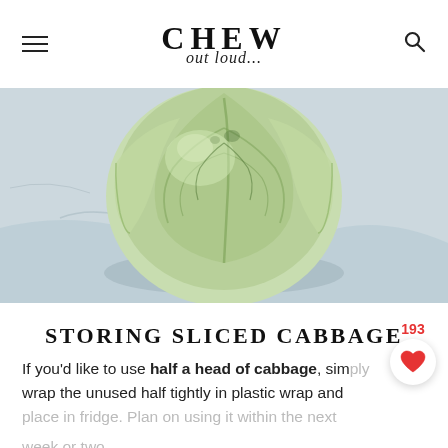CHEW out loud...
[Figure (photo): Close-up photo of a whole head of green cabbage on a light marble surface]
STORING SLICED CABBAGE
If you'd like to use half a head of cabbage, simply wrap the unused half tightly in plastic wrap and place in fridge. Plan on using it within the next week or two.